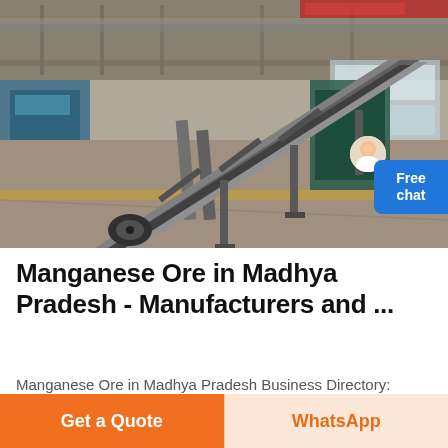[Figure (photo): Industrial factory interior showing a metal conveyor belt system at an angle, with machinery and factory floor visible. Steel structure, yellow floor markings, industrial ceiling lights.]
Manganese Ore in Madhya Pradesh - Manufacturers and ...
Manganese Ore in Madhya Pradesh Business Directory: ... Catering to the